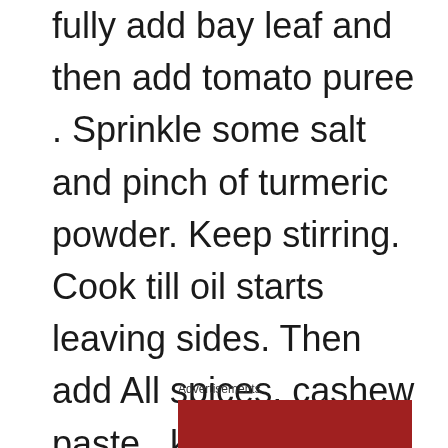fully add bay leaf and then add tomato puree . Sprinkle some salt and pinch of turmeric powder. Keep stirring. Cook till oil starts leaving sides. Then add All spices, cashew paste , kasuri methi and a cup of water. Mix nicely and cook for more 2 mins.
Advertisements